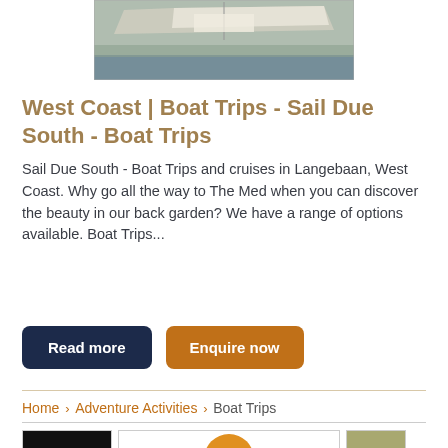[Figure (photo): Aerial or deck-level photo of a sailboat on water, showing the boat deck and water beside it]
West Coast | Boat Trips - Sail Due South - Boat Trips
Sail Due South - Boat Trips and cruises in Langebaan, West Coast. Why go all the way to The Med when you can discover the beauty in our back garden? We have a range of options available. Boat Trips...
Read more | Enquire now
Home > Adventure Activities > Boat Trips
[Figure (screenshot): Row of small thumbnail images at the bottom of the page]